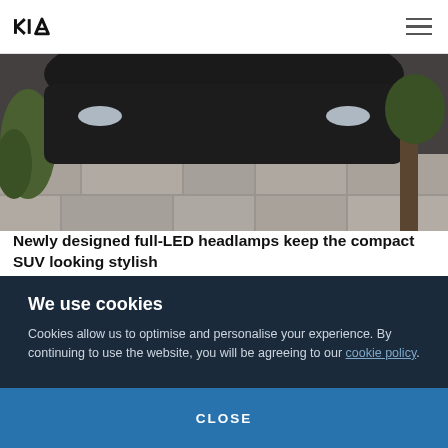Kia logo and navigation menu
[Figure (photo): Partial image of Kia Stonic compact SUV front/top view showing LED headlamps, surrounded by plants and stone pavement]
Newly designed full-LED headlamps keep the compact SUV looking stylish
The Stonic M-Hybrid's new turbocharged Smartstream 1.0-litre T-GDi engine replaces the earlier Kappa-generation unit. Paired with a 48V
We use cookies
Cookies allow us to optimise and personalise your experience. By continuing to use the website, you will be agreeing to our cookie policy.
CLOSE